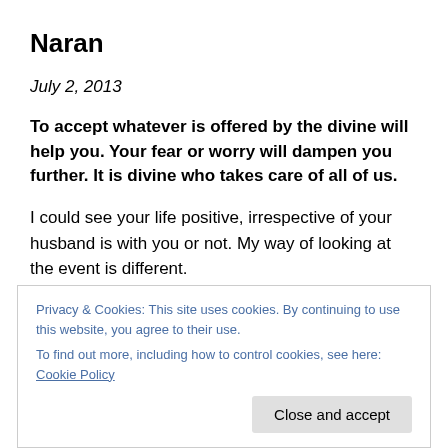Naran
July 2, 2013
To accept whatever is offered by the divine will help you. Your fear or worry will dampen you further. It is divine who takes care of all of us.
I could see your life positive, irrespective of your husband is with you or not. My way of looking at the event is different.
Privacy & Cookies: This site uses cookies. By continuing to use this website, you agree to their use. To find out more, including how to control cookies, see here: Cookie Policy
Close and accept